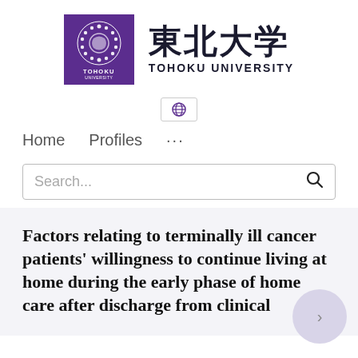[Figure (logo): Tohoku University logo: purple square with white circular emblem and text 'TOHOKU UNIVERSITY', alongside large kanji characters '東北大学' and 'TOHOKU UNIVERSITY' text]
[Figure (other): Globe/language selector icon button with border]
Home   Profiles   ...
Search...
Factors relating to terminally ill cancer patients' willingness to continue living at home during the early phase of home care after discharge from clinical...